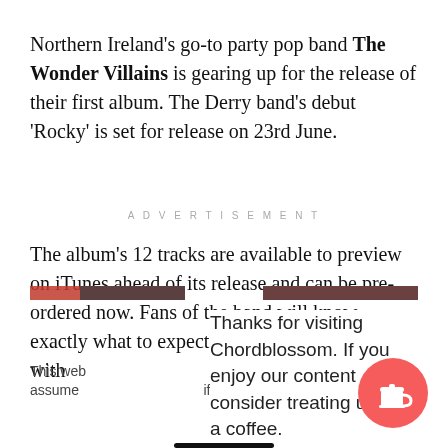Northern Ireland's go-to party pop band The Wonder Villains is gearing up for the release of their first album. The Derry band's debut 'Rocky' is set for release on 23rd June.
ADVERTISEMENT
The album's 12 tracks are available to preview on iTunes ahead of its release and can be pre-ordered now. Fans of the band will know exactly what to expect; fun, danceable music with a chorus dedicated
Thanks for visiting Chordblossom. If you enjoy our content consider treating us to a coffee.
This web ience. We'll assume if y